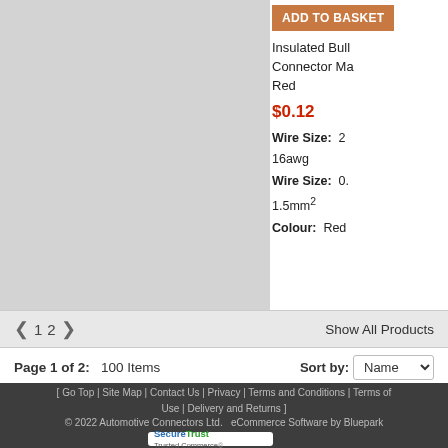[Figure (other): Light grey product image placeholder panel on the left side]
ADD TO BASKET
Insulated Bull... Connector Ma...
Red
$0.12
Wire Size:  2... 16awg
Wire Size:  0... 1.5mm²
Colour: Red
◂  1  2  ▸  Show All Products
Page 1 of 2:   100 Items    Sort by: Name
[ Go Top | Site Map | Contact Us | Privacy | Terms and Conditions | Terms of Use | Delivery and Returns ]
© 2022 Automotive Connectors Ltd.   eCommerce Software by Bluepark
[Figure (logo): SecureTrust Trusted Commerce badge/logo]